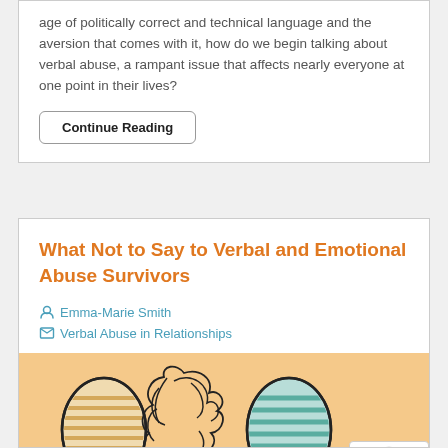age of politically correct and technical language and the aversion that comes with it, how do we begin talking about verbal abuse, a rampant issue that affects nearly everyone at one point in their lives?
Continue Reading
What Not to Say to Verbal and Emotional Abuse Survivors
Emma-Marie Smith
Verbal Abuse in Relationships
[Figure (illustration): Three illustrated figures with stylized heads on a peach/orange background. Left figure has a striped pattern in cream/tan, middle figure has a tangled scribble mass for a head suggesting confusion or distress, right figure has teal/green horizontal stripes.]